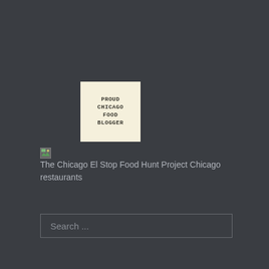[Figure (logo): PROUD CHICAGO FOOD BLOGGER logo — cream/beige square with dark text in uppercase monospace font]
[Figure (photo): Broken image placeholder with alt text: The Chicago El Stop Food Hunt Project Chicago restaurants]
Search ...